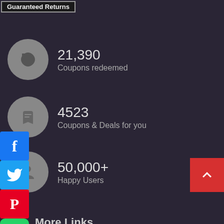Guaranteed Returns
21,390
Coupons redeemed
4523
Coupons & Deals for you
50,000+
Happy Users
More Links
Home
Shop
Contact us